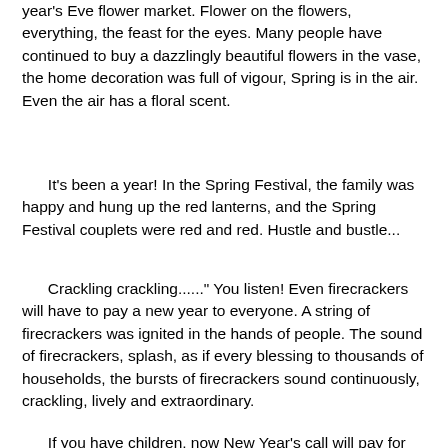year's Eve flower market. Flower on the flowers, everything, the feast for the eyes. Many people have continued to buy a dazzlingly beautiful flowers in the vase, the home decoration was full of vigour, Spring is in the air. Even the air has a floral scent.
It's been a year! In the Spring Festival, the family was happy and hung up the red lanterns, and the Spring Festival couplets were red and red. Hustle and bustle...
Crackling crackling......" You listen! Even firecrackers will have to pay a new year to everyone. A string of firecrackers was ignited in the hands of people. The sound of firecrackers, splash, as if every blessing to thousands of households, the bursts of firecrackers sound continuously, crackling, lively and extraordinary.
If you have children, now New Year's call will pay for